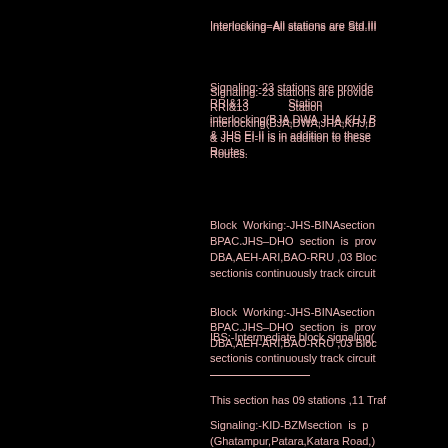Interlocking−All stations are Std.III
Signaling:-23 stations are provided RRI&13 Station interlocking(BJA,DWA,JHA,KHJ,B & JHS EI-II is in addition to these Routes.
Block Working:-JHS-BINAsection BPAC.JHS–DHO section is prov DBA,AEH-ARI,BAO-RRU ,03 Bloc sectionis continuously track circuit
IBS:-Intermediate block signaling(
This section has 09 stations ,11 Traf
Signaling:-KID-BZMsection is p (Ghatampur,Patara,Katara Road,) Ragaul, Akona, Hamirpur) ,02 sta